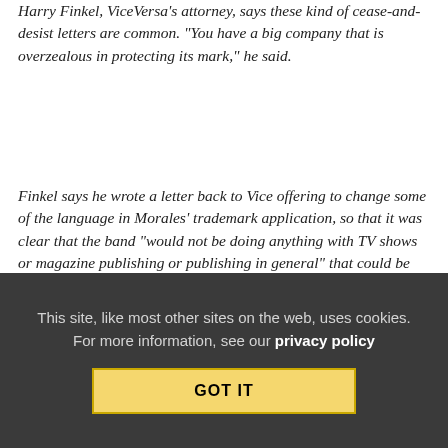Harry Finkel, ViceVersa's attorney, says these kind of cease-and-desist letters are common. "You have a big company that is overzealous in protecting its mark," he said.
Finkel says he wrote a letter back to Vice offering to change some of the language in Morales' trademark application, so that it was clear that the band "would not be doing anything with TV shows or magazine publishing or publishing in general" that could be seen as encroaching on Vice's territory. He says he never heard back from the company. Instead, Vice in March filed a letter of opposition to the Trademark Trial and Appeal Board, asking that ViceVersa's trademark application be denied.
Nope, they're not talking to you, sir. Parley is part of the pirate's
This site, like most other sites on the web, uses cookies. For more information, see our privacy policy
GOT IT